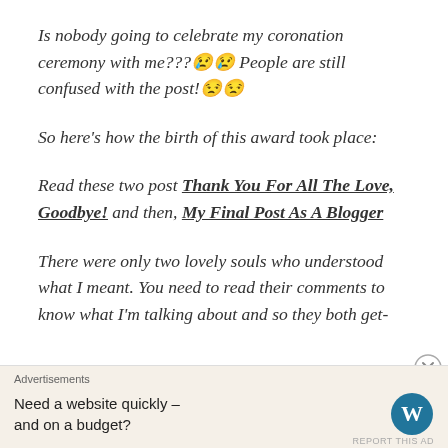Is nobody going to celebrate my coronation ceremony with me???😢😢 People are still confused with the post!😒😒
So here's how the birth of this award took place:
Read these two post Thank You For All The Love, Goodbye! and then, My Final Post As A Blogger
There were only two lovely souls who understood what I meant. You need to read their comments to know what I'm talking about and so they both get-
Advertisements
Need a website quickly – and on a budget?